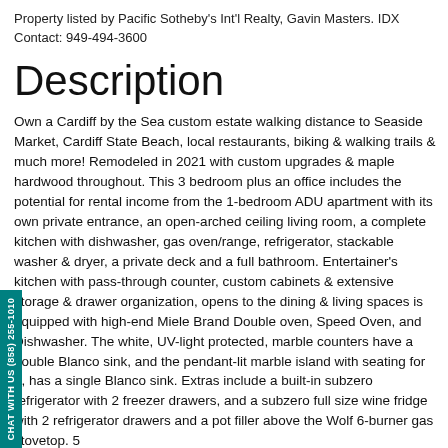Property listed by Pacific Sotheby's Int'l Realty, Gavin Masters. IDX Contact: 949-494-3600
Description
Own a Cardiff by the Sea custom estate walking distance to Seaside Market, Cardiff State Beach, local restaurants, biking & walking trails & much more! Remodeled in 2021 with custom upgrades & maple hardwood throughout. This 3 bedroom plus an office includes the potential for rental income from the 1-bedroom ADU apartment with its own private entrance, an open-arched ceiling living room, a complete kitchen with dishwasher, gas oven/range, refrigerator, stackable washer & dryer, a private deck and a full bathroom. Entertainer's kitchen with pass-through counter, custom cabinets & extensive storage & drawer organization, opens to the dining & living spaces is equipped with high-end Miele Brand Double oven, Speed Oven, and Dishwasher. The white, UV-light protected, marble counters have a double Blanco sink, and the pendant-lit marble island with seating for 4, has a single Blanco sink. Extras include a built-in subzero refrigerator with 2 freezer drawers, and a subzero full size wine fridge with 2 refrigerator drawers and a pot filler above the Wolf 6-burner gas stovetop. 5